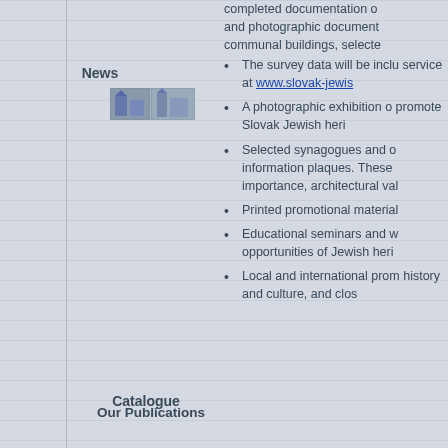completed documentation of and photographic document communal buildings, selected
The survey data will be included in service at www.slovak-jewis...
A photographic exhibition on promote Slovak Jewish heritage
Selected synagogues and other information plaques. These importance, architectural value
Printed promotional material
Educational seminars and workshops opportunities of Jewish heritage
Local and international promotion history and culture, and closer
News
[Figure (photo): Small thumbnail photo of buildings]
Our Publications
Catalogue